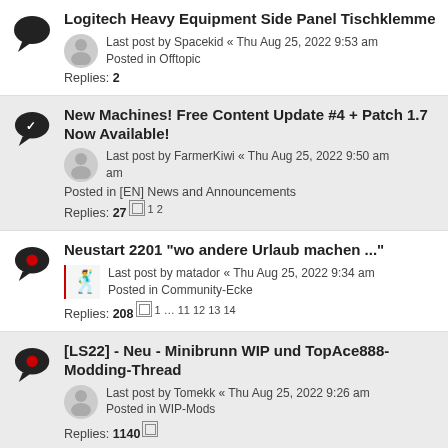Logitech Heavy Equipment Side Panel Tischklemme
Last post by Spacekid « Thu Aug 25, 2022 9:53 am
Posted in Offtopic
Replies: 2
New Machines! Free Content Update #4 + Patch 1.7 Now Available!
Last post by FarmerKiwi « Thu Aug 25, 2022 9:50 am
Posted in [EN] News and Announcements
Replies: 27  1 2
Neustart 2201 "wo andere Urlaub machen ..."
Last post by matador « Thu Aug 25, 2022 9:34 am
Posted in Community-Ecke
Replies: 208  1 ... 11 12 13 14
[LS22] - Neu - Minibrunn WIP und TopAce888-Modding-Thread
Last post by Tomekk « Thu Aug 25, 2022 9:26 am
Posted in WIP-Mods
Replies: 1140